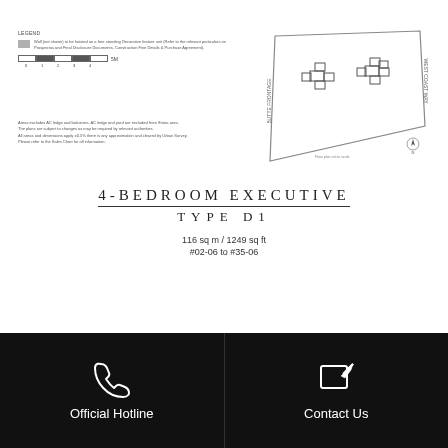LEGEND
Wall (not shown) to be hoisted on a free standing Decorative feature unit (Refer to the relevant particulars on Prospectus and Final Disclosure Documents, Construction Fine Details & Purchase Agreement).
[Figure (schematic): Scale bar showing 0 1 2 3 4 5M]
[Figure (map): Site plan showing building footprint with Butte Frontage and West Coast Way labels, two cluster building shapes shown in plan view]
Areas excludes AC ledge and balconies. AC ledge and yard are excluded from Strata area. The plans are subject to changes as may be required by relevant authorities. All areas and dimensions apply ±0.5% there is any approximation and cleared by Urban Survey. Please refer to the Sales Chart for all information.
4-BEDROOM EXECUTIVE TYPE D1
116 sq m / 1249 sq ft #02-06 to #35-06
[Figure (engineering-diagram): Floor plan of 4-bedroom executive unit Type D1, showing room layout with kitchen, bathrooms, and living areas]
Official Hotline
Contact Us